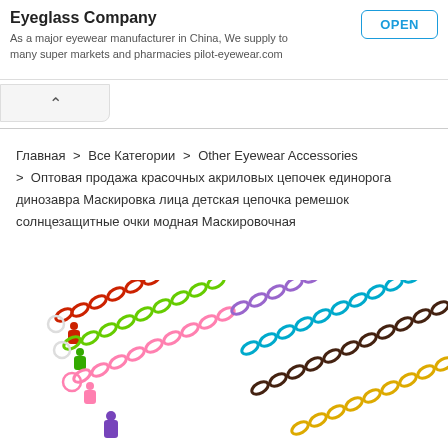Eyeglass Company
As a major eyewear manufacturer in China, We supply to many super markets and pharmacies pilot-eyewear.com
Главная > Все Категории > Other Eyewear Accessories > Оптовая продажа красочных акриловых цепочек единорога динозавра Маскировка лица детская цепочка ремешок солнцезащитные очки модная Маскировочная
[Figure (photo): Multiple colorful acrylic chain straps with unicorn/dinosaur charms in red, green, pink, purple, teal/blue, dark brown, and gold colors, fanned out diagonally]